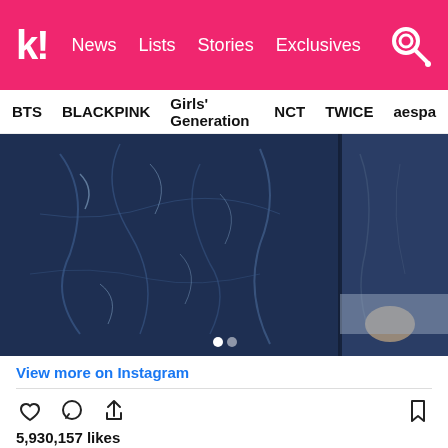k! News Lists Stories Exclusives
BTS  BLACKPINK  Girls' Generation  NCT  TWICE  aespa
[Figure (photo): Instagram photo showing people in dark blue/navy jackets with crinkled fabric texture, two people visible side by side]
View more on Instagram
5,930,157 likes
eunwo.o_c
□□□□2 ☺
view all 65,195 comments